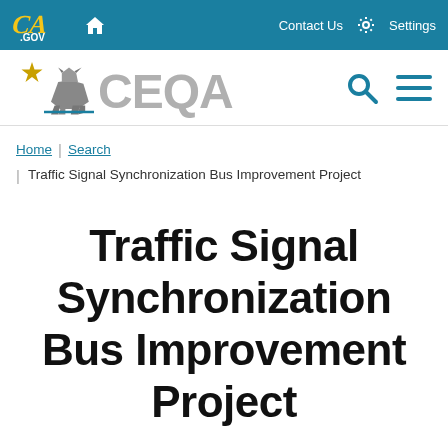CA.GOV | Contact Us | Settings
[Figure (logo): CEQA California state website logo with bear graphic and search/menu icons]
Home | Search | Traffic Signal Synchronization Bus Improvement Project
Traffic Signal Synchronization Bus Improvement Project